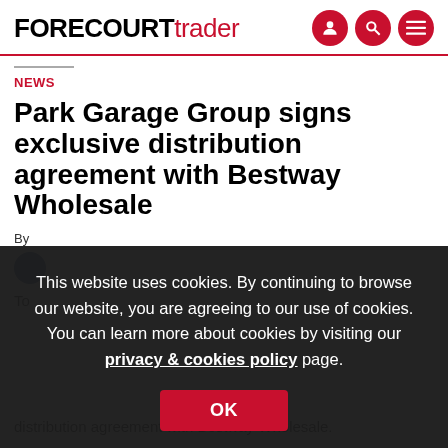FORECOURT trader
NEWS
Park Garage Group signs exclusive distribution agreement with Bestway Wholesale
By
This website uses cookies. By continuing to browse our website, you are agreeing to our use of cookies. You can learn more about cookies by visiting our privacy & cookies policy page.
OK
To
distribution agreement with Bestway Wholesale.